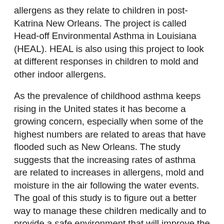allergens as they relate to children in post-Katrina New Orleans. The project is called Head-off Environmental Asthma in Louisiana (HEAL). HEAL is also using this project to look at different responses in children to mold and other indoor allergens.
As the prevalence of childhood asthma keeps rising in the United states it has become a growing concern, especially when some of the highest numbers are related to areas that have flooded such as New Orleans. The study suggests that the increasing rates of asthma are related to increases in allergens, mold and moisture in the air following the water events. The goal of this study is to figure out a better way to manage these children medically and to provide a safe environment that will improve the health of the children affected. HEAL is currently in its second